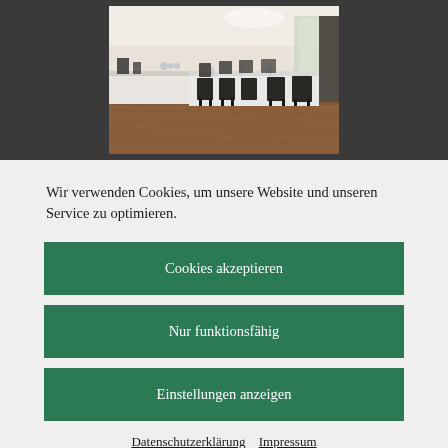[Figure (photo): Interior photo of a conference room with a long table, dark chairs, white walls, and wooden floor, displayed against a dark gray background banner.]
Wir verwenden Cookies, um unsere Website und unseren Service zu optimieren.
Cookies akzeptieren
Nur funktionsfähig
Einstellungen anzeigen
Datenschutzerklärung   Impressum